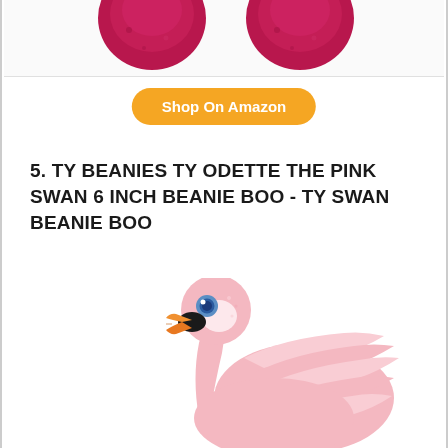[Figure (photo): Partial view of two dark pink/magenta plush toy pom-poms visible at top of page]
Shop On Amazon
5. TY BEANIES TY ODETTE THE PINK SWAN 6 INCH BEANIE BOO - TY SWAN BEANIE BOO
[Figure (photo): Close-up photo of a Ty Beanie Boo pink swan stuffed animal named Odette, showing the plush head with big blue eye, orange beak, and fluffy pink feathered body/wings]